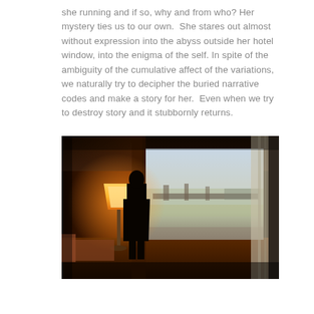she running and if so, why and from who? Her mystery ties us to our own.  She stares out almost without expression into the abyss outside her hotel window, into the enigma of the self. In spite of the ambiguity of the cumulative affect of the variations, we naturally try to decipher the buried narrative codes and make a story for her.  Even when we try to destroy story and it stubbornly returns.
[Figure (photo): A silhouette of a person standing at a large hotel window looking out at a cityscape/stadium view. A warm orange floor lamp is lit to the left. The room interior has dark warm tones with curtains framing the bright exterior view.]